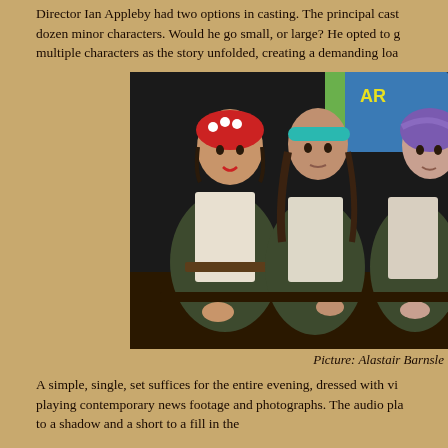Director Ian Appleby had two options in casting. The principal cast had a dozen minor characters. Would he go small, or large? He opted to go multiple characters as the story unfolded, creating a demanding loa
[Figure (photo): Three women dressed in WWII-era factory worker costumes — dark aprons over striped shirts — sitting together on stage. The woman on the left wears a red polka-dot headscarf, the middle woman has a teal headband, and the woman on the right wears a purple wrapped headscarf. A projection screen is visible in the background.]
Picture: Alastair Barnsle
A simple, single, set suffices for the entire evening, dressed with vi playing contemporary news footage and photographs. The audio pla to a shadow and a short to a fill in the